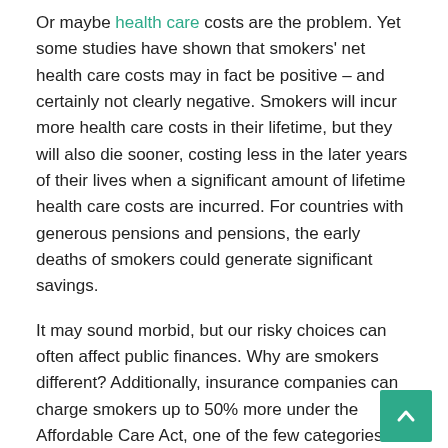Or maybe health care costs are the problem. Yet some studies have shown that smokers' net health care costs may in fact be positive – and certainly not clearly negative. Smokers will incur more health care costs in their lifetime, but they will also die sooner, costing less in the later years of their lives when a significant amount of lifetime health care costs are incurred. For countries with generous pensions and pensions, the early deaths of smokers could generate significant savings.
It may sound morbid, but our risky choices can often affect public finances. Why are smokers different? Additionally, insurance companies can charge smokers up to 50% more under the Affordable Care Act, one of the few categories that can legally be required to pay more. Meanwhile, states like New York have put over $ 4 in excise taxes on cigarettes. Are smokers not paying their fair share for their choices?
Paternalism is a slippery slope. If your vices become unpopular